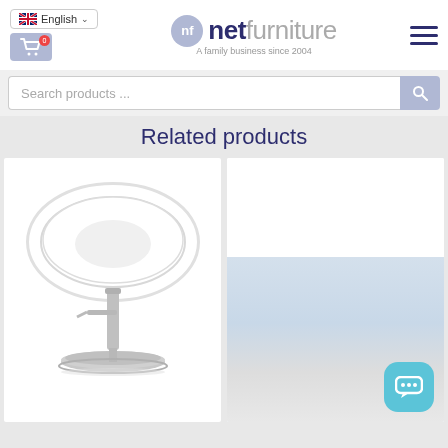netfurniture — A family business since 2004
Search products ...
Related products
[Figure (photo): White modern adjustable bar stool with oval ring backrest and chrome base]
[Figure (photo): Beechwood round dining table set with four chairs and chrome legs]